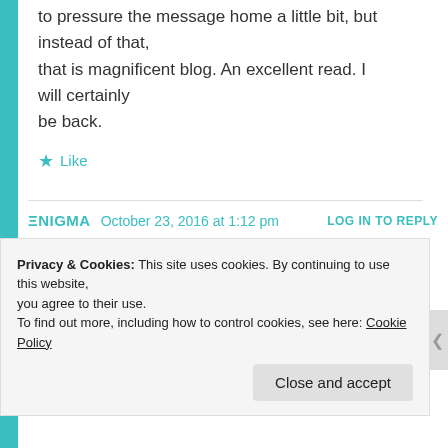to pressure the message home a little bit, but instead of that, that is magnificent blog. An excellent read. I will certainly be back.
★ Like
ENIGMA   October 23, 2016 at 1:12 pm   LOG IN TO REPLY
Wow, this is quite something. So well written. And you have an amazing blog.
Privacy & Cookies: This site uses cookies. By continuing to use this website, you agree to their use.
To find out more, including how to control cookies, see here: Cookie Policy
Close and accept